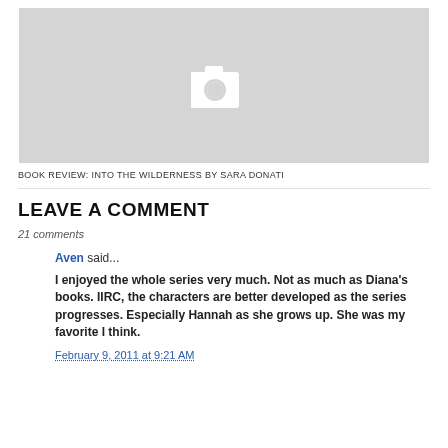[Figure (photo): Gray placeholder image with white camera icon in center]
BOOK REVIEW: INTO THE WILDERNESS BY SARA DONATI
LEAVE A COMMENT
21 comments
Aven said...
I enjoyed the whole series very much. Not as much as Diana's books. IIRC, the characters are better developed as the series progresses. Especially Hannah as she grows up. She was my favorite I think.
February 9, 2011 at 9:21 AM